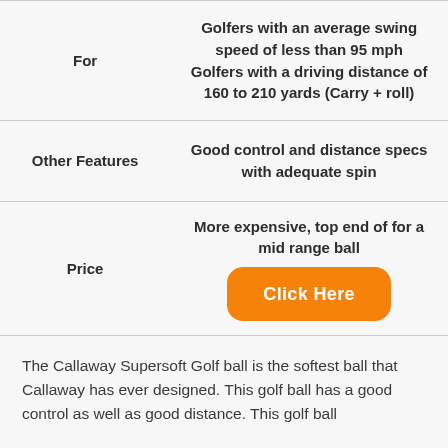| For | Golfers with an average swing speed of less than 95 mph
Golfers with a driving distance of 160 to 210 yards (Carry + roll) |
| --- | --- |
| For | Golfers with an average swing speed of less than 95 mph
Golfers with a driving distance of 160 to 210 yards (Carry + roll) |
| Other Features | Good control and distance specs with adequate spin |
| Price | More expensive, top end of for a mid range ball
[Click Here button] |
The Callaway Supersoft Golf ball is the softest ball that Callaway has ever designed. This golf ball has a good control as well as good distance. This golf ball